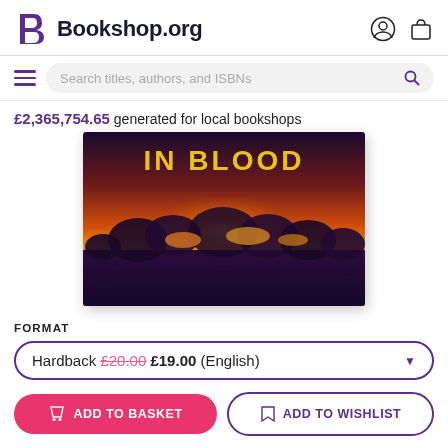Bookshop.org
Search titles, authors, and ISBNs
£2,365,754.65 generated for local bookshops
[Figure (photo): Book cover for 'In Blood' showing a dramatic orange/amber sky with silhouetted trees and a field, with large yellow text 'IN BLOOD' at the top]
FORMAT
Hardback £20.00 £19.00 (English)
ADD TO BASKET
ADD TO WISHLIST